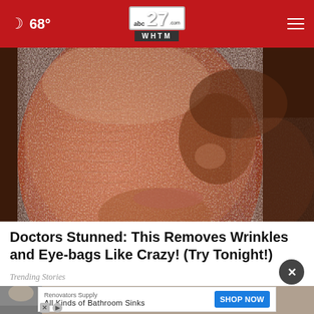abc27 WHTM — 68° navigation bar
[Figure (photo): Close-up of a person's face covered in a clay or skin-tightening mask, showing wrinkled texture across cheeks and forehead]
Doctors Stunned: This Removes Wrinkles and Eye-bags Like Crazy! (Try Tonight!)
Trending Stories
[Figure (photo): Partial view of a person, bottom strip, with an advertisement overlay for Renovators Supply — All Kinds of Bathroom Sinks — SHOP NOW button]